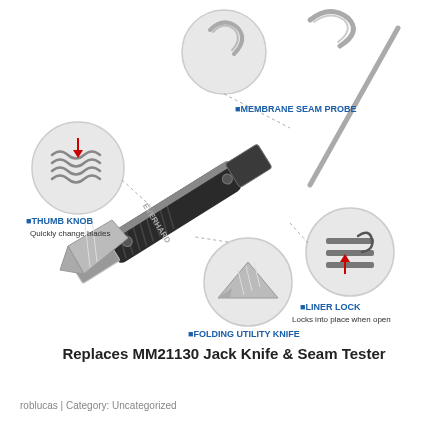[Figure (infographic): Product infographic for Everhard folding utility knife / jack knife & seam tester tool. Shows the main tool (a folding knife with membrane seam probe) with callout circles highlighting four features: MEMBRANE SEAM PROBE (top center, hook end), THUMB KNOB - Quickly change blades (left, spring detail), LINER LOCK - Locks into place when open (right, locking mechanism), FOLDING UTILITY KNIFE - Replaceable blade (bottom center, blade detail). Brand name EVERHARD visible on handle.]
Replaces MM21130 Jack Knife & Seam Tester
roblucas | Category: Uncategorized